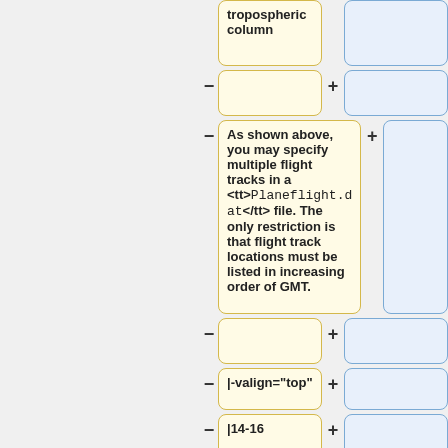tropospheric column
As shown above, you may specify multiple flight tracks in a <tt>Planeflight.dat</tt> file. The only restriction is that flight track locations must be listed in increasing order of GMT.
|-valign="top"
|14-16
|Separator